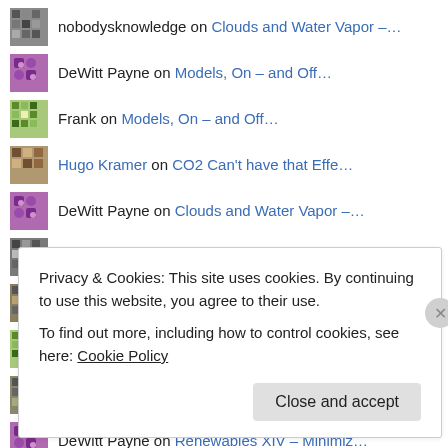nobodysknowledge on Clouds and Water Vapor –…
DeWitt Payne on Models, On – and Off…
Frank on Models, On – and Off…
Hugo Kramer on CO2 Can't have that Effe…
DeWitt Payne on Clouds and Water Vapor –…
nobodysknowledge on Clouds and Water Vapor –…
nobodysknowledge on Clouds and Water Vapor –…
Frank on Renewables XIV – Minimiz…
nobodyknowledge on Clouds and Water Vapor –…
DeWitt Payne on Renewables XIV – Minimiz…
scienceofdoom on Renewables XIV – Minimiz…
Privacy & Cookies: This site uses cookies. By continuing to use this website, you agree to their use. To find out more, including how to control cookies, see here: Cookie Policy
Close and accept